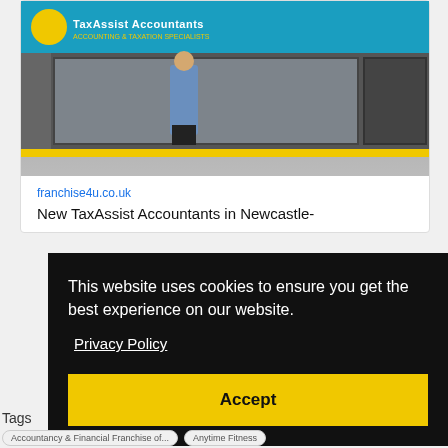[Figure (photo): TaxAssist Accountants storefront with man standing outside, blue signage with yellow logo and yellow bottom strip]
franchise4u.co.uk
New TaxAssist Accountants in Newcastle-
This website uses cookies to ensure you get the best experience on our website.
Privacy Policy
Accept
Tags
Accountancy & Financial Franchise of...
Anytime Fitness